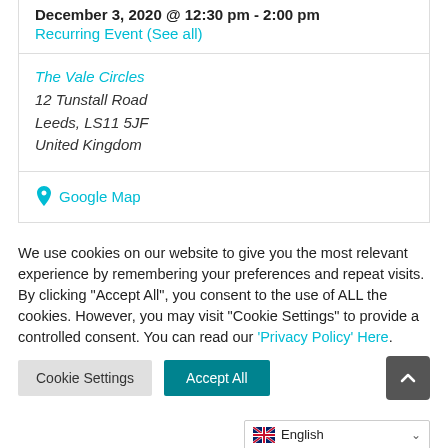December 3, 2020 @ 12:30 pm - 2:00 pm
Recurring Event (See all)
The Vale Circles
12 Tunstall Road
Leeds, LS11 5JF
United Kingdom
Google Map
We use cookies on our website to give you the most relevant experience by remembering your preferences and repeat visits. By clicking “Accept All”, you consent to the use of ALL the cookies. However, you may visit "Cookie Settings" to provide a controlled consent. You can read our 'Privacy Policy' Here.